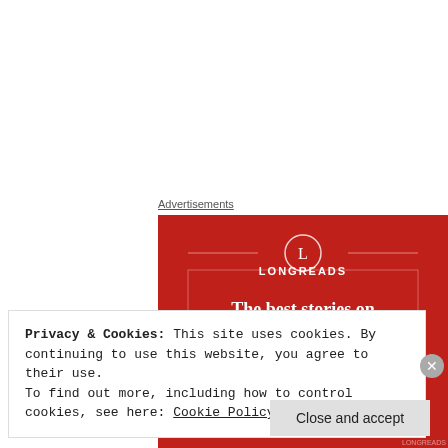Advertisements
[Figure (illustration): Longreads advertisement banner on red background. Features the Longreads logo (circle with L) at top center, with decorative horizontal lines. Large white serif text reads: 'The best stories on the web – ours, and everyone else's.' A dark button is partially visible at the bottom.]
Privacy & Cookies: This site uses cookies. By continuing to use this website, you agree to their use.
To find out more, including how to control cookies, see here: Cookie Policy
Close and accept